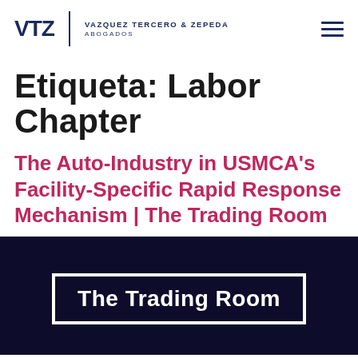VTZ | Vazquez Tercero & Zepeda Abogados
Etiqueta: Labor Chapter
The Auto-Industry in USMCA's Facility-Specific Rapid Response Mechanism | The Trading Room
[Figure (illustration): Dark navy background thumbnail image with white bordered rectangle containing white text reading 'The Trading Room']